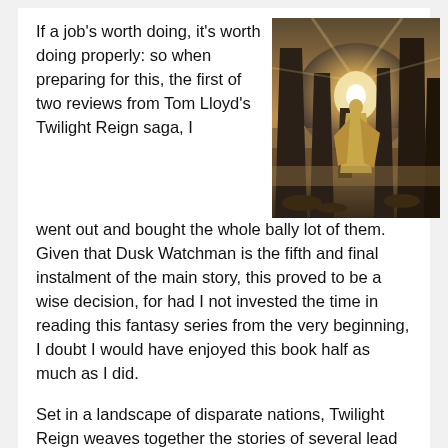If a job's worth doing, it's worth doing properly: so when preparing for this, the first of two reviews from Tom Lloyd's Twilight Reign saga, I went out and bought the whole bally lot of them. Given that Dusk Watchman is the fifth and final instalment of the main story, this proved to be a wise decision, for had I not invested the time in reading this fantasy series from the very beginning, I doubt I would have enjoyed this book half as much as I did.
[Figure (photo): A robed figure walking among large standing stones in misty, dramatic lighting with sunlight breaking through the stones]
Set in a landscape of disparate nations, Twilight Reign weaves together the stories of several lead characters whose destinies overlap in a world forced to redefine the way it interacts with its Gods.
First and foremost of these is Isak Stormcaller, the white-eye son of a wagon trader, chosen by Lord Bahl of the